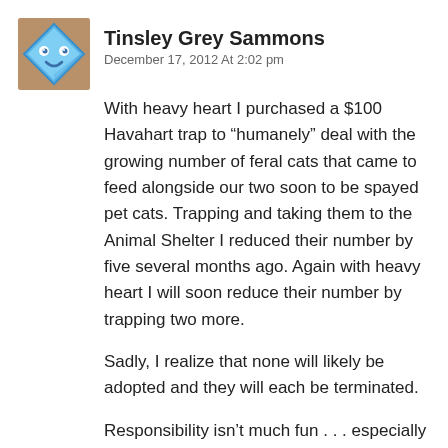[Figure (illustration): Avatar image: cartoon blue diamond-shaped smiley face on a brownish background]
Tinsley Grey Sammons
December 17, 2012 At 2:02 pm
With heavy heart I purchased a $100 Havahart trap to “humanely” deal with the growing number of feral cats that came to feed alongside our two soon to be spayed pet cats. Trapping and taking them to the Animal Shelter I reduced their number by five several months ago. Again with heavy heart I will soon reduce their number by trapping two more.
Sadly, I realize that none will likely be adopted and they will each be terminated.
Responsibility isn’t much fun . . . especially when it collides with a reverence for Life.
Tinsley Grey Sammons (1936 –)